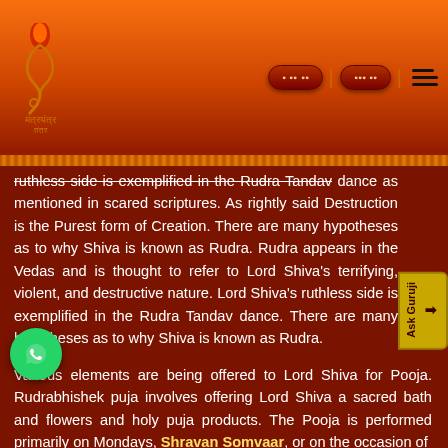Website header with logo and navigation buttons
ruthless side is exemplified in the Rudra Tandav dance as mentioned in scared scriptures. As rightly said Destruction is the Purest form of Creation. There are many hypotheses as to why Shiva is known as Rudra. Rudra appears in the Vedas and is thought to refer to Lord Shiva's terrifying, violent, and destructive nature. Lord Shiva's ruthless side is exemplified in the Rudra Tandav dance. There are many hypotheses as to why Shiva is known as Rudra.
Various elements are being offered to Lord Shiva for Pooja. Rudrabhishek puja involves offering Lord Shiva a sacred bath and flowers and holy puja products. The Pooja is performed primarily on Mondays, Shravan Somvaar, or on the occasion of